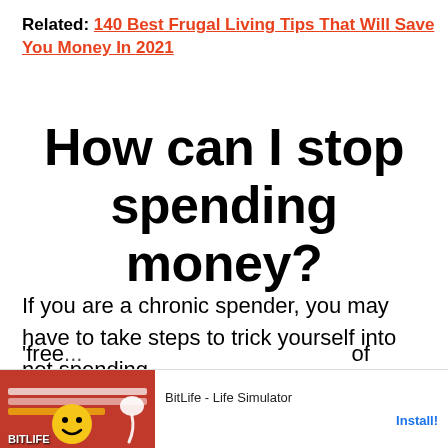Related: 140 Best Frugal Living Tips That Will Save You Money In 2021
How can I stop spending money?
If you are a chronic spender, you may have to take steps to trick yourself into not spending.
For example, you may want to literally 'free... of
[Figure (screenshot): Mobile advertisement banner for BitLife - Life Simulator app with Ad label, app icon, title, and Install button]